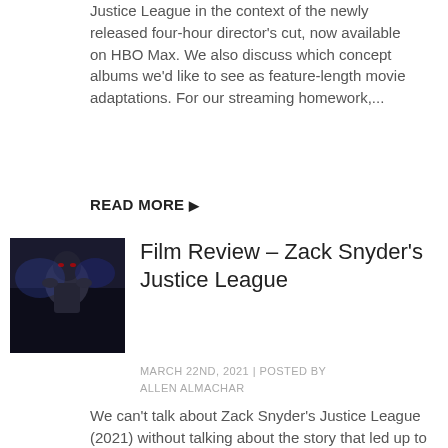Justice League in the context of the newly released four-hour director's cut, now available on HBO Max. We also discuss which concept albums we'd like to see as feature-length movie adaptations. For our streaming homework,...
READ MORE ▶
[Figure (photo): Movie still from Zack Snyder's Justice League showing a character in dark armor with glowing red elements]
Film Review – Zack Snyder's Justice League
MARCH 22ND, 2021 | POSTED BY ALLEN ALMACHAR
We can't talk about Zack Snyder's Justice League (2021) without talking about the story that led up to its release. While in the middle of initial production in 2017, Snyder suffered a terrible family tragedy. Not having the energy to continue working, Snyder decided to walk away,...